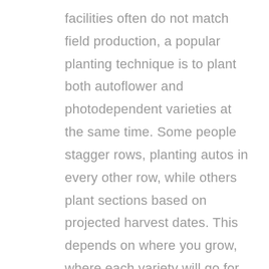facilities often do not match field production, a popular planting technique is to plant both autoflower and photodependent varieties at the same time. Some people stagger rows, planting autos in every other row, while others plant sections based on projected harvest dates. This depends on where you grow, where each variety will go for harvest processing and how the hemp farm and drying facilities are structured for receiving the harvest.